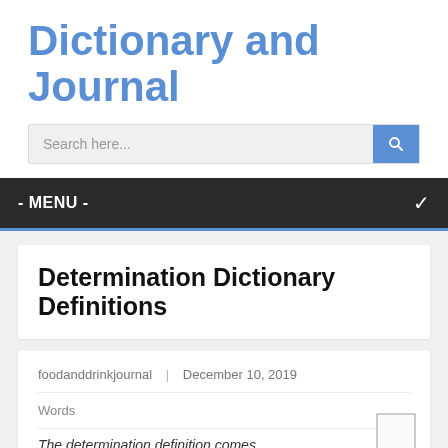Dictionary and Journal
[Figure (screenshot): Search bar with placeholder text 'Search here...' and a blue search button]
- MENU -
Determination Dictionary Definitions
foodanddrinkjournal | December 10, 2019
Words
The determination definition comes...